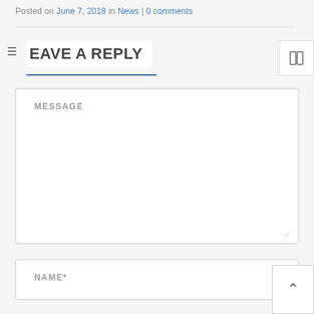Posted on June 7, 2018 in News | 0 comments
LEAVE A REPLY
MESSAGE
NAME*